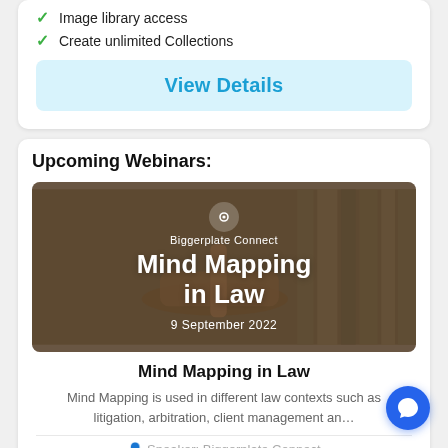Image library access
Create unlimited Collections
View Details
Upcoming Webinars:
[Figure (photo): Webinar banner image showing a judge's gavel with law books in background. Overlaid text: Biggerplate Connect, Mind Mapping in Law, 9 September 2022]
Mind Mapping in Law
Mind Mapping is used in different law contexts such as litigation, arbitration, client management an...
Speaker: Biggerplate Connect